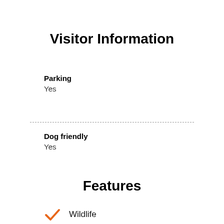Visitor Information
Parking
Yes
Dog friendly
Yes
Features
Wildlife